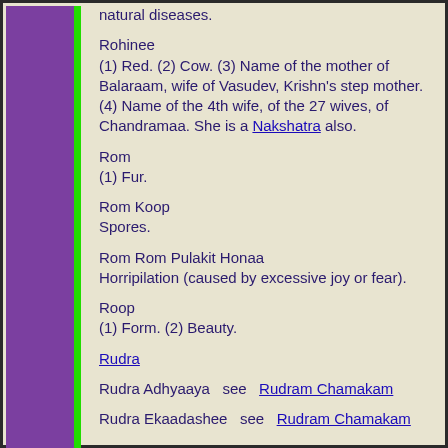natural diseases.
Rohinee
(1) Red.  (2) Cow.  (3) Name of the mother of Balaraam, wife of Vasudev, Krishn's step mother.  (4) Name of the 4th wife, of the 27 wives, of Chandramaa. She is a Nakshatra also.
Rom
(1) Fur.
Rom Koop
Spores.
Rom Rom Pulakit Honaa
Horripilation (caused by excessive joy or fear).
Roop
(1) Form.  (2) Beauty.
Rudra
Rudra Adhyaaya   see   Rudram Chamakam
Rudra Ekaadashee   see   Rudram Chamakam